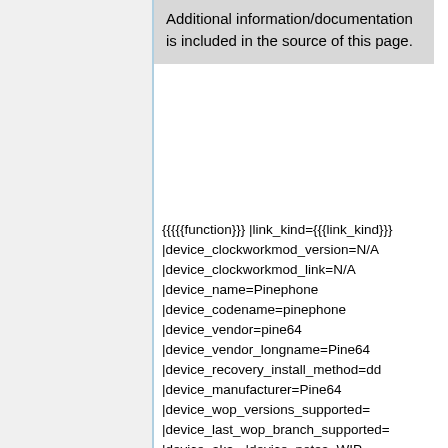Additional information/documentation is included in the source of this page.
{{{{{function}}} |link_kind={{{link_kind}}} |device_clockworkmod_version=N/A |device_clockworkmod_link=N/A |device_name=Pinephone |device_codename=pinephone |device_vendor=pine64 |device_vendor_longname=Pine64 |device_recovery_install_method=dd |device_manufacturer=Pine64 |device_wop_versions_supported= |device_last_wop_branch_supported= |device_aka= |device_notes=WIP |device_release_date=2020 July 16 |device_carrier= |device_page_content=N/A